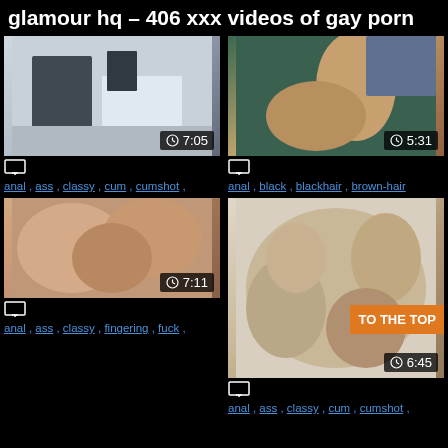glamour hq – 406 xxx videos of gay porn
[Figure (photo): Video thumbnail – office scene, duration 7:05]
anal , ass , classy , cum , cumshot ,
[Figure (photo): Video thumbnail – two people, duration 5:31]
anal , black , blackhair , brown-hair
[Figure (photo): Video thumbnail – close-up scene, duration 7:11]
anal , ass , classy , fingering , fuck ,
[Figure (photo): Video thumbnail – group scene with TO THE TOP badge, duration 6:45]
anal , ass , classy , cum , cumshot ,